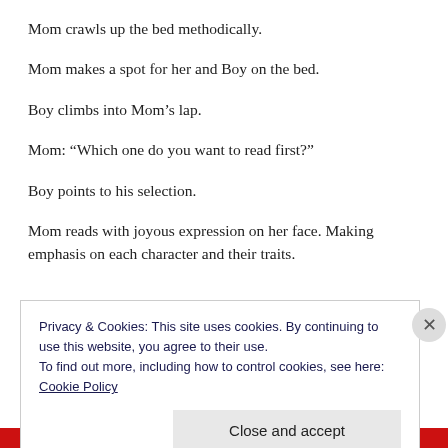Mom crawls up the bed methodically.
Mom makes a spot for her and Boy on the bed.
Boy climbs into Mom’s lap.
Mom: “Which one do you want to read first?”
Boy points to his selection.
Mom reads with joyous expression on her face. Making emphasis on each character and their traits.
Privacy & Cookies: This site uses cookies. By continuing to use this website, you agree to their use.
To find out more, including how to control cookies, see here: Cookie Policy